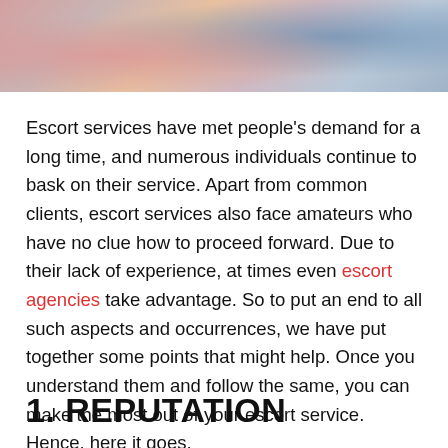[Figure (photo): Partial photo of people in colorful clothing/swimwear, cropped at top of page]
Escort services have met people's demand for a long time, and numerous individuals continue to bask on their service. Apart from common clients, escort services also face amateurs who have no clue how to proceed forward. Due to their lack of experience, at times even escort agencies take advantage. So to put an end to all such aspects and occurrences, we have put together some points that might help. Once you understand them and follow the same, you can make the most out of your escort service. Hence, here it goes.
1. REPUTATION